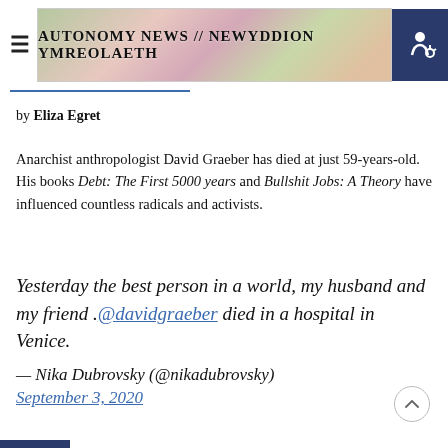Autonomy News // Newyddion Ymreolaeth
by Eliza Egret
Anarchist anthropologist David Graeber has died at just 59-years-old. His books Debt: The First 5000 years and Bullshit Jobs: A Theory have influenced countless radicals and activists.
Yesterday the best person in a world, my husband and my friend .@davidgraeber died in a hospital in Venice.
— Nika Dubrovsky (@nikadubrovsky) September 3, 2020